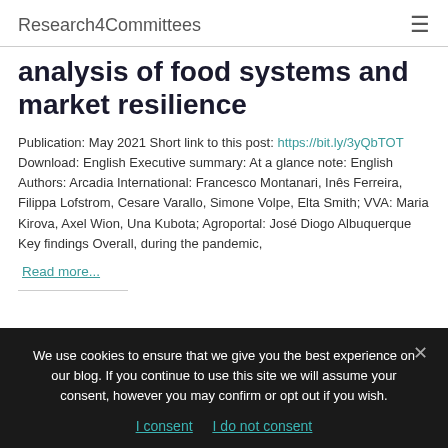Research4Committees
analysis of food systems and market resilience
Publication: May 2021 Short link to this post: https://bit.ly/3yQbTOT Download: English Executive summary: At a glance note: English Authors: Arcadia International: Francesco Montanari, Inês Ferreira, Filippa Lofstrom, Cesare Varallo, Simone Volpe, Elta Smith; VVA: Maria Kirova, Axel Wion, Una Kubota; Agroportal: José Diogo Albuquerque Key findings Overall, during the pandemic,
Read more...
We use cookies to ensure that we give you the best experience on our blog. If you continue to use this site we will assume your consent, however you may confirm or opt out if you wish.
I consent   I do not consent